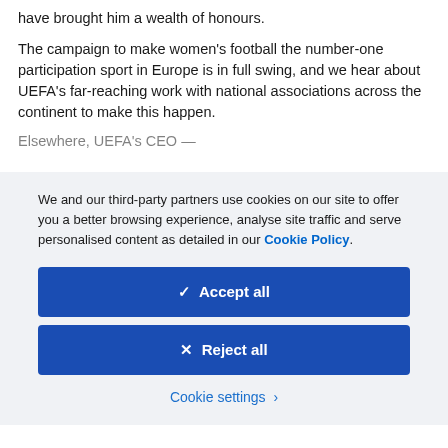have brought him a wealth of honours.
The campaign to make women's football the number-one participation sport in Europe is in full swing, and we hear about UEFA's far-reaching work with national associations across the continent to make this happen.
We and our third-party partners use cookies on our site to offer you a better browsing experience, analyse site traffic and serve personalised content as detailed in our Cookie Policy.
✓  Accept all
✕  Reject all
Cookie settings  >